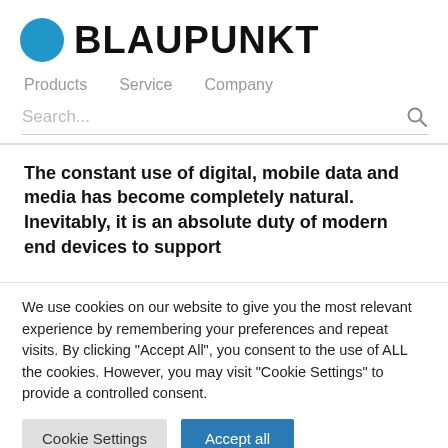[Figure (logo): Blaupunkt logo: blue circle dot followed by bold black text BLAUPUNKT]
Products   Service   Company
Search...
The constant use of digital, mobile data and media has become completely natural. Inevitably, it is an absolute duty of modern end devices to support
We use cookies on our website to give you the most relevant experience by remembering your preferences and repeat visits. By clicking "Accept All", you consent to the use of ALL the cookies. However, you may visit "Cookie Settings" to provide a controlled consent.
Cookie Settings   Accept all